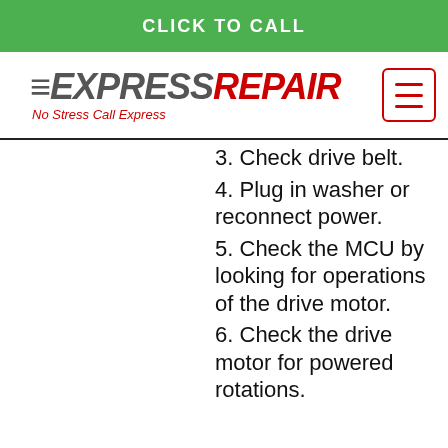CLICK TO CALL
[Figure (logo): Express Repair logo with tagline 'No Stress Call Express' and hamburger menu button]
3. Check drive belt.
4. Plug in washer or reconnect power.
5. Check the MCU by looking for operations of the drive motor.
6. Check the drive motor for powered rotations.